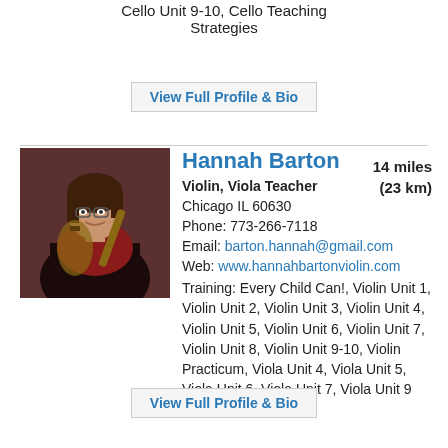Cello Unit 9-10, Cello Teaching Strategies
View Full Profile & Bio
[Figure (photo): Photo of Hannah Barton playing violin]
Hannah Barton
Violin, Viola Teacher
14 miles (23 km)
Chicago IL 60630
Phone: 773-266-7118
Email: barton.hannah@gmail.com
Web: www.hannahbartonviolin.com
Training: Every Child Can!, Violin Unit 1, Violin Unit 2, Violin Unit 3, Violin Unit 4, Violin Unit 5, Violin Unit 6, Violin Unit 7, Violin Unit 8, Violin Unit 9-10, Violin Practicum, Viola Unit 4, Viola Unit 5, Viola Unit 6, Viola Unit 7, Viola Unit 9
View Full Profile & Bio